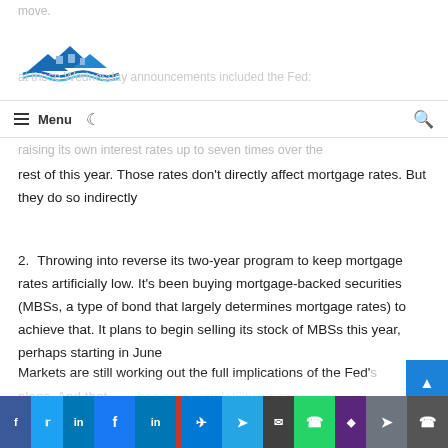move.
[Figure (logo): House/roof logo with blue color scheme]
at those Wednesday announcements included the Fed:
Menu (hamburger icon) | moon icon | search icon
raising its own interest rates up to seven times over the
rest of this year. Those rates don't directly affect mortgage rates. But they do so indirectly
Throwing into reverse its two-year program to keep mortgage rates artificially low. It's been buying mortgage-backed securities (MBSs, a type of bond that largely determines mortgage rates) to achieve that. It plans to begin selling its stock of MBSs this year, perhaps starting in June
Markets are still working out the full implications of the Fed's plans. And that anxiety of sorts has so much volatility since